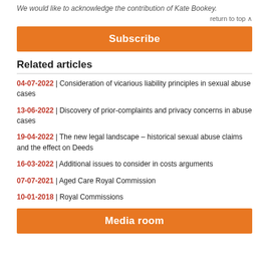We would like to acknowledge the contribution of Kate Bookey.
return to top ∧
Subscribe
Related articles
04-07-2022 | Consideration of vicarious liability principles in sexual abuse cases
13-06-2022 | Discovery of prior-complaints and privacy concerns in abuse cases
19-04-2022 | The new legal landscape – historical sexual abuse claims and the effect on Deeds
16-03-2022 | Additional issues to consider in costs arguments
07-07-2021 | Aged Care Royal Commission
10-01-2018 | Royal Commissions
Media room